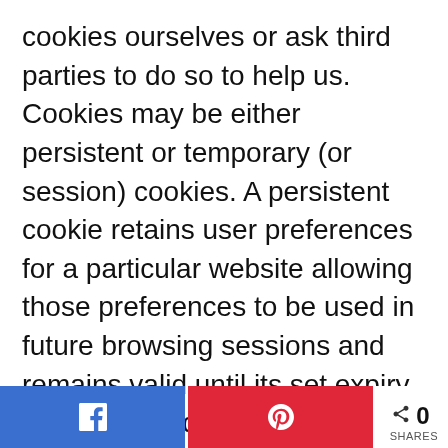cookies ourselves or ask third parties to do so to help us. Cookies may be either persistent or temporary (or session) cookies. A persistent cookie retains user preferences for a particular website allowing those preferences to be used in future browsing sessions and remains valid until its set expiry date (unless deleted by the user before the expiry date). A temporary cookie, on the other hand, will expire at the end of the user
Facebook share | Pinterest share | 0 SHARES